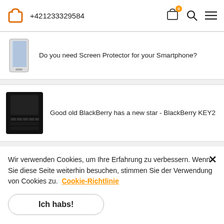+421233329584
Do you need Screen Protector for your Smartphone?
Good old BlackBerry has a new star - BlackBerry KEY2
Wir verwenden Cookies, um Ihre Erfahrung zu verbessern. Wenn Sie diese Seite weiterhin besuchen, stimmen Sie der Verwendung von Cookies zu. Cookie-Richtlinie
Ich habs!